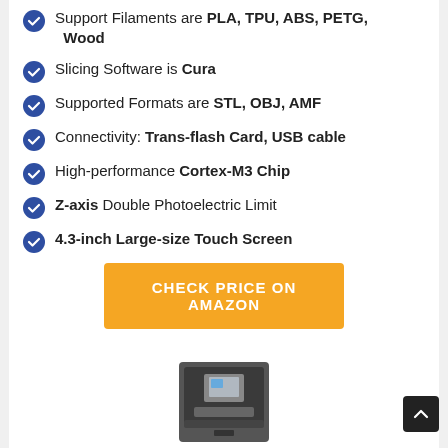Support Filaments are PLA, TPU, ABS, PETG, Wood
Slicing Software is Cura
Supported Formats are STL, OBJ, AMF
Connectivity: Trans-flash Card, USB cable
High-performance Cortex-M3 Chip
Z-axis Double Photoelectric Limit
4.3-inch Large-size Touch Screen
CHECK PRICE ON AMAZON
[Figure (photo): 3D printer device shown from front, partially visible at bottom of page]